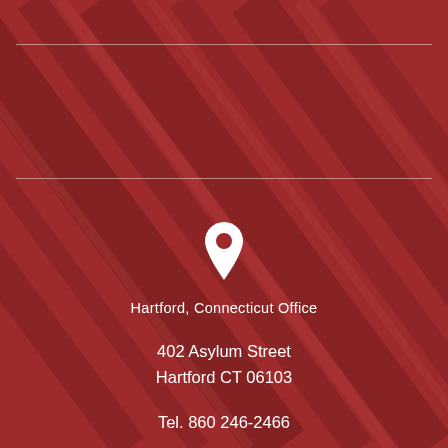[Figure (illustration): Dark red background with diagonal stripe pattern and two horizontal white dividing lines]
Hartford, Connecticut Office
402 Asylum Street
Hartford CT 06103
Tel. 860 246-2466